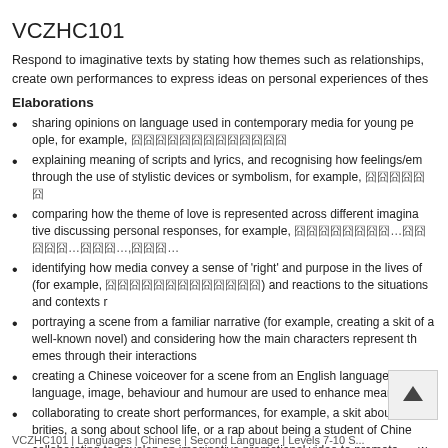VCZHC101
Respond to imaginative texts by stating how themes such as relationships, create own performances to express ideas on personal experiences of these
Elaborations
sharing opinions on language used in contemporary media for young people, for example, [Chinese characters]
explaining meaning of scripts and lyrics, and recognising how feelings/emotions are expressed through the use of stylistic devices or symbolism, for example, [Chinese characters]
comparing how the theme of love is represented across different imaginative texts and discussing personal responses, for example, [Chinese characters]…[Chinese]…[Chinese]…,[Chinese]…
identifying how media convey a sense of 'right' and purpose in the lives of (for example, [Chinese characters]) and reactions to the situations and contexts r
portraying a scene from a familiar narrative (for example, creating a skit of a well-known novel) and considering how the main characters represent through their interactions
creating a Chinese voiceover for a scene from an English language sitcom, language, image, behaviour and humour are used to enhance meaning a
collaborating to create short performances, for example, a skit about celebrities, a song about school life, or a rap about being a student of Chinese
collaborating to develop an imaginative promotional video to promote a Chinese service, such as a Chinese-speaking toy panda or a peer tutor service
VCZHC101 | Languages | Chinese | Second Language | Levels 7-10 S...